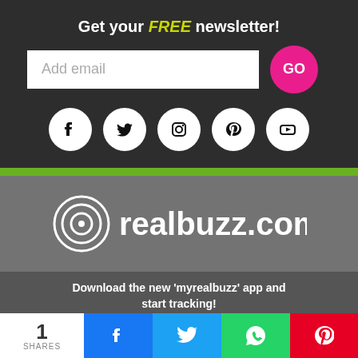Get your FREE newsletter!
[Figure (screenshot): Email signup form with white input box showing 'Add email' placeholder and a pink circular GO button]
[Figure (infographic): Social media icons row: Facebook, Twitter, Instagram, Pinterest, YouTube — white circles on dark background]
[Figure (logo): realbuzz.com logo with concentric circles icon on grey background]
Download the new 'myrealbuzz' app and start tracking!
[Figure (infographic): App store buttons: Download on the App Store and GET IT ON Google Play, plus green TOP button]
[Figure (infographic): Shares bar: 1 SHARES, Facebook, Twitter, WhatsApp, Pinterest share buttons]